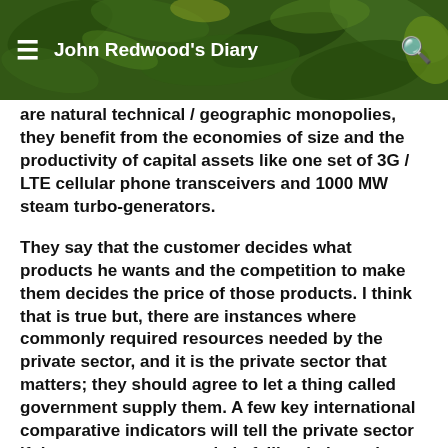John Redwood's Diary
are natural technical / geographic monopolies, they benefit from the economies of size and the productivity of capital assets like one set of 3G / LTE cellular phone transceivers and 1000 MW steam turbo-generators.
They say that the customer decides what products he wants and the competition to make them decides the price of those products. I think that is true but, there are instances where commonly required resources needed by the private sector, and it is the private sector that matters; they should agree to let a thing called government supply them. A few key international comparative indicators will tell the private sector if that government supply is failing in its tasks. Stuff like MW hrs per employee and cost per passenger mile.